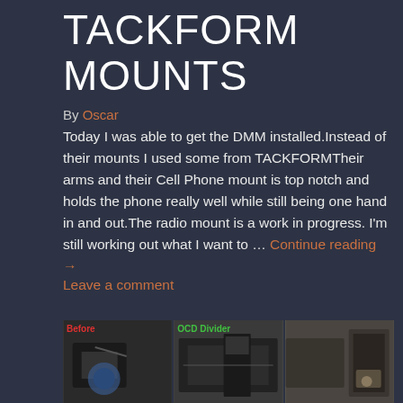TACKFORM MOUNTS
By Oscar
Today I was able to get the DMM installed.Instead of their mounts I used some from TACKFORMTheir arms and their Cell Phone mount is top notch and holds the phone really well while still being one hand in and out.The radio mount is a work in progress. I'm still working out what I want to … Continue reading →
Leave a comment
[Figure (photo): Three side-by-side photos of vehicle interior before and after installation, with labels 'Before' in red and 'OCD Divider' in green]